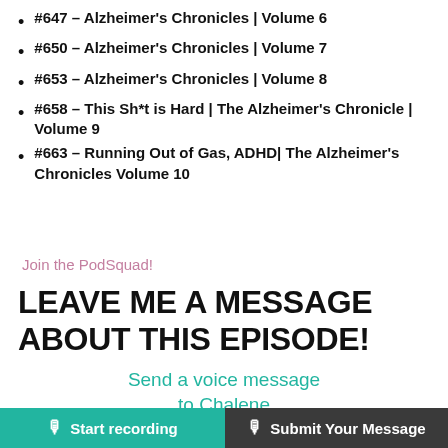#647 – Alzheimer's Chronicles | Volume 6
#650 – Alzheimer's Chronicles | Volume 7
#653 – Alzheimer's Chronicles | Volume 8
#658 – This Sh*t is Hard | The Alzheimer's Chronicle | Volume 9
#663 – Running Out of Gas, ADHD| The Alzheimer's Chronicles Volume 10
Join the PodSquad!
LEAVE ME A MESSAGE ABOUT THIS EPISODE!
Send a voice message to Chalene
Is your microphone ready?
Start recording
Submit Your Message